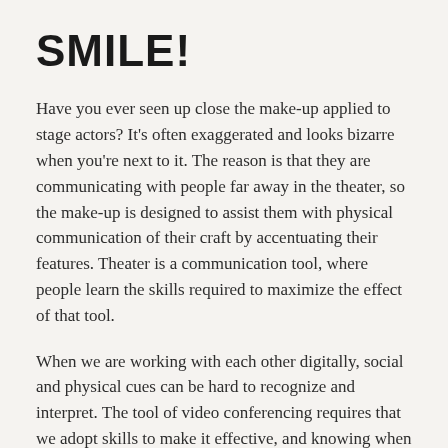SMILE!
Have you ever seen up close the make-up applied to stage actors? It's often exaggerated and looks bizarre when you're next to it. The reason is that they are communicating with people far away in the theater, so the make-up is designed to assist them with physical communication of their craft by accentuating their features. Theater is a communication tool, where people learn the skills required to maximize the effect of that tool.
When we are working with each other digitally, social and physical cues can be hard to recognize and interpret. The tool of video conferencing requires that we adopt skills to make it effective, and knowing when and how to apply them depending on the communication style of the person we are conversing with. Today I realized that when I am on skype/zoom/webex/gotomeeting/hangouts/teams (insert